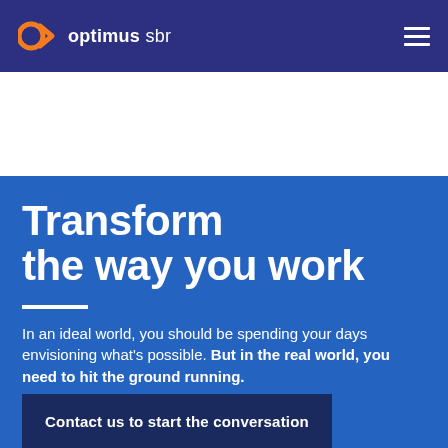[Figure (logo): Optimus SBR logo: orange circle with arrow chevron and white text 'optimus sbr' on navy background header]
Transform the way you work
In an ideal world, you should be spending your days envisioning what’s possible. But in the real world, you need to hit the ground running.
Contact us to start the conversation